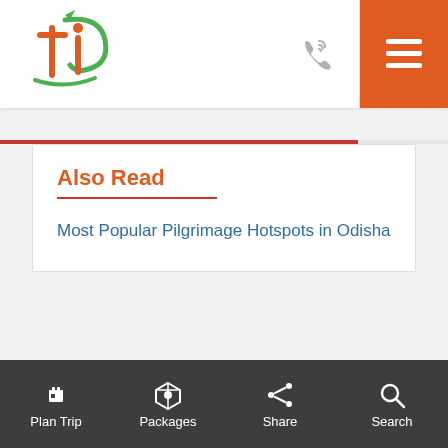[Figure (logo): Travel website logo with stylized 'ti' letters in orange and green]
Also Read
Most Popular Pilgrimage Hotspots in Odisha
Plan Trip  Packages  Share  Search